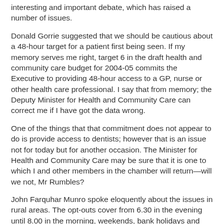interesting and important debate, which has raised a number of issues.
Donald Gorrie suggested that we should be cautious about a 48-hour target for a patient first being seen. If my memory serves me right, target 6 in the draft health and community care budget for 2004-05 commits the Executive to providing 48-hour access to a GP, nurse or other health care professional. I say that from memory; the Deputy Minister for Health and Community Care can correct me if I have got the data wrong.
One of the things that that commitment does not appear to do is provide access to dentists; however that is an issue not for today but for another occasion. The Minister for Health and Community Care may be sure that it is one to which I and other members in the chamber will return—will we not, Mr Rumbles?
John Farquhar Munro spoke eloquently about the issues in rural areas. The opt-outs cover from 6.30 in the evening until 8.00 in the morning, weekends, bank holidays and public holidays. However, what are bank holidays? By and large, the banks do not observe the legally defined Scottish bank